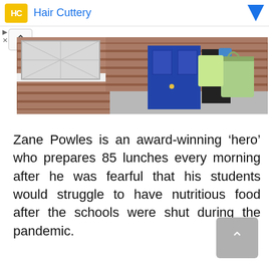Hair Cuttery
[Figure (photo): A person wearing blue gloves carrying grocery/food bags in front of a brick house with a blue door]
Zane Powles is an award-winning ‘hero’ who prepares 85 lunches every morning after he was fearful that his students would struggle to have nutritious food after the schools were shut during the pandemic.